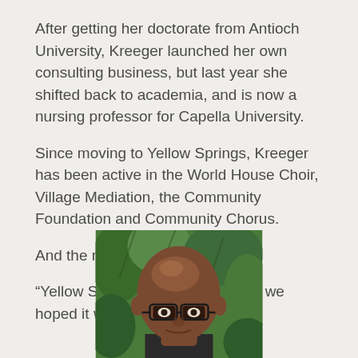After getting her doctorate from Antioch University, Kreeger launched her own consulting business, but last year she shifted back to academia, and is now a nursing professor for Capella University.
Since moving to Yellow Springs, Kreeger has been active in the World House Choir, Village Mediation, the Community Foundation and Community Chorus.
And the move did not disappoint.
“Yellow Springs has lived up to all we hoped it would be,” Kreeger said.
[Figure (photo): Portrait photo of a bald African American man wearing glasses, photographed in front of green foliage]